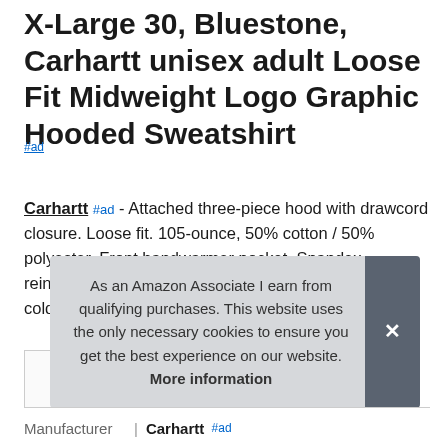X-Large 30, Bluestone, Carhartt unisex adult Loose Fit Midweight Logo Graphic Hooded Sweatshirt
#ad
Carhartt #ad - Attached three-piece hood with drawcord closure. Loose fit. 105-ounce, 50% cotton / 50% polyester. Front handwarmer pocket. Spandex-reinforced rib-knit cuffs and waist help keep out the cold.
As an Amazon Associate I earn from qualifying purchases. This website uses the only necessary cookies to ensure you get the best experience on our website. More information
Manufacturer  Carhartt #ad